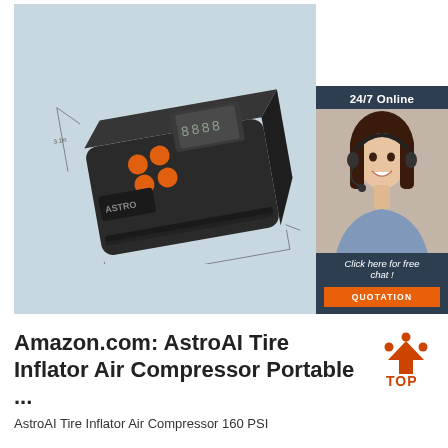[Figure (photo): AstroAI portable tire inflator air compressor device shown in perspective view with dimension lines, placed on light blue background. A customer service chat widget appears on the right side with '24/7 Online' header, photo of a smiling woman with headset, 'Click here for free chat!' text, and an orange QUOTATION button.]
Amazon.com: AstroAI Tire Inflator Air Compressor Portable ...
[Figure (logo): TOP logo with orange triangular arrow shape above bold orange text 'TOP']
AstroAI Tire Inflator Air Compressor 160 PSI